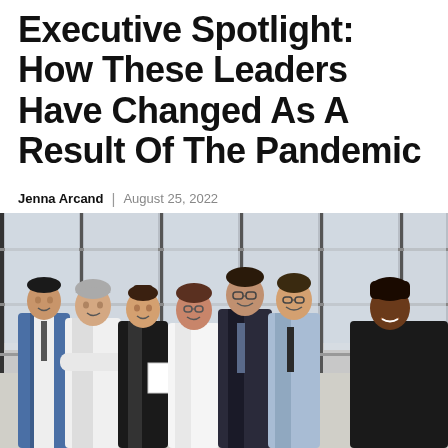Executive Spotlight: How These Leaders Have Changed As A Result Of The Pandemic
Jenna Arcand | August 25, 2022
[Figure (photo): A group of seven diverse business professionals standing together in a modern office hallway, smiling at the camera. They are dressed in business attire including suits and dress shirts.]